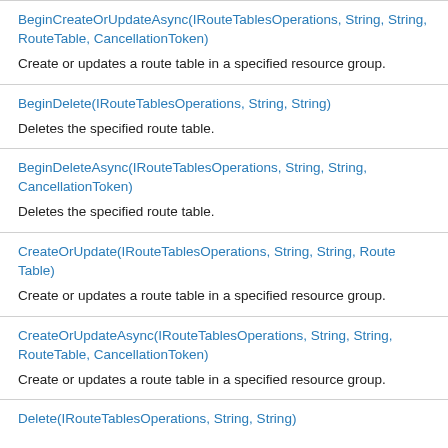| BeginCreateOrUpdateAsync(IRouteTablesOperations, String, String, RouteTable, CancellationToken) | Create or updates a route table in a specified resource group. |
| BeginDelete(IRouteTablesOperations, String, String) | Deletes the specified route table. |
| BeginDeleteAsync(IRouteTablesOperations, String, String, CancellationToken) | Deletes the specified route table. |
| CreateOrUpdate(IRouteTablesOperations, String, String, RouteTable) | Create or updates a route table in a specified resource group. |
| CreateOrUpdateAsync(IRouteTablesOperations, String, String, RouteTable, CancellationToken) | Create or updates a route table in a specified resource group. |
| Delete(IRouteTablesOperations, String, String) |  |